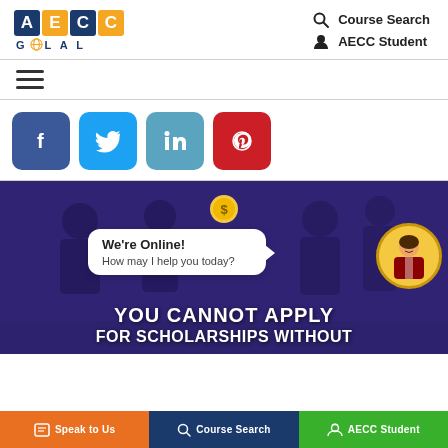[Figure (logo): AECC Global logo with colored letter blocks and globe icon]
Course Search
AECC Student
[Figure (other): Hamburger menu icon (three horizontal lines)]
[Figure (other): Social media share buttons: Facebook, Twitter, LinkedIn, Pinterest]
[Figure (other): Banner with purple overlay showing students, coin icon, chat bubble saying 'We're Online! How may I help you today?', and text 'YOU CANNOT APPLY FOR SCHOLARSHIPS WITHOUT']
We're Online!
How may I help you today?
YOU CANNOT APPLY FOR SCHOLARSHIPS WITHOUT
Speak to Us   Course Search   AECC Student